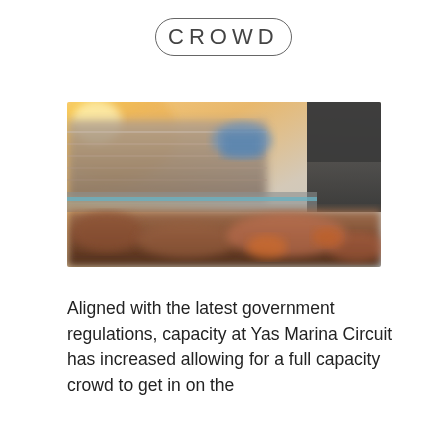CROWD
[Figure (photo): Blurred photo of a crowded racing circuit grandstand at dusk, showing spectators in the foreground, the pit lane and track in the middle, and illuminated stadium structures with a warm sunset glow in the background. The scene appears to be Yas Marina Circuit.]
Aligned with the latest government regulations, capacity at Yas Marina Circuit has increased allowing for a full capacity crowd to get in on the